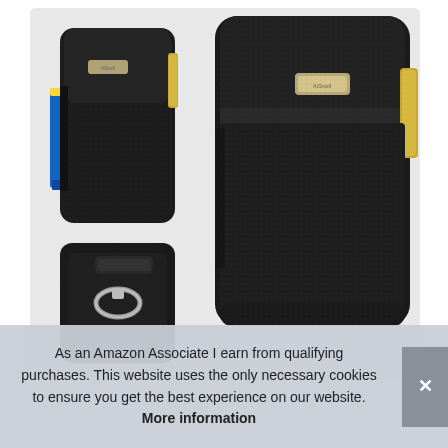[Figure (photo): Product photo showing a black nylon phone holster/belt pouch case from multiple angles. Left side shows two views: top-left shows the front of the case with a blue pen in the side slot and a gold clip, bottom-left shows the back/bottom with a carabiner clip. Right side shows a large close-up of the front of the case with a metallic brand label reading 'AiScell' and a gold clip on the side.]
As an Amazon Associate I earn from qualifying purchases. This website uses the only necessary cookies to ensure you get the best experience on our website. More information